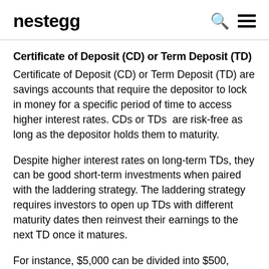nestegg
Certificate of Deposit (CD) or Term Deposit (TD)
Certificate of Deposit (CD) or Term Deposit (TD) are savings accounts that require the depositor to lock in money for a specific period of time to access higher interest rates. CDs or TDs  are risk-free as long as the depositor holds them to maturity.
Despite higher interest rates on long-term TDs, they can be good short-term investments when paired with the laddering strategy. The laddering strategy requires investors to open up TDs with different maturity dates then reinvest their earnings to the next TD once it matures.
For instance, $5,000 can be divided into $500, $1,000,